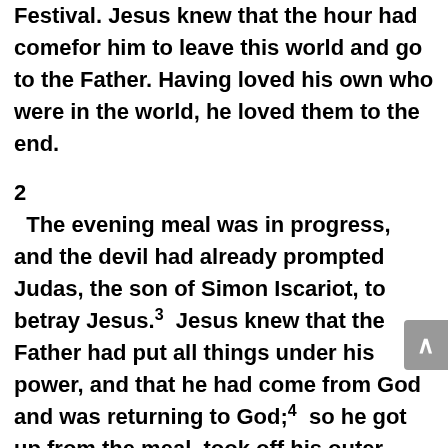Festival. Jesus knew that the hour had comefor him to leave this world and go to the Father. Having loved his own who were in the world, he loved them to the end. 2 The evening meal was in progress, and the devil had already prompted Judas, the son of Simon Iscariot, to betray Jesus. 3 Jesus knew that the Father had put all things under his power, and that he had come from God and was returning to God; 4 so he got up from the meal, took off his outer clothing, and wrapped a towel around his waist. 5 After that, he